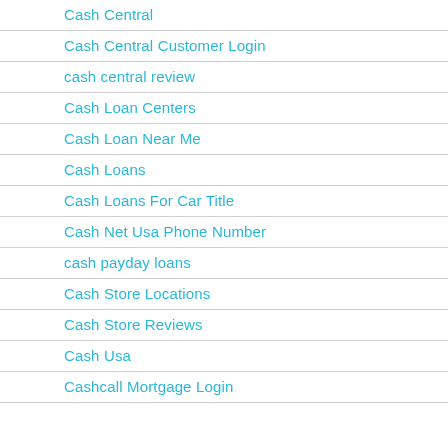Cash Central
Cash Central Customer Login
cash central review
Cash Loan Centers
Cash Loan Near Me
Cash Loans
Cash Loans For Car Title
Cash Net Usa Phone Number
cash payday loans
Cash Store Locations
Cash Store Reviews
Cash Usa
Cashcall Mortgage Login